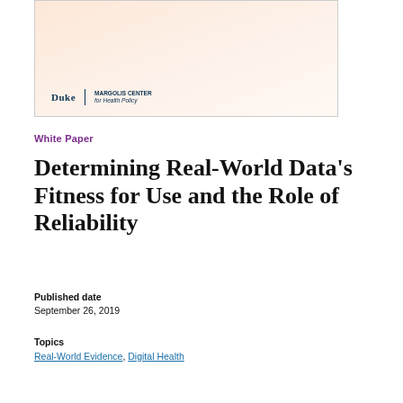[Figure (illustration): Thumbnail image of a document cover with a peach/salmon gradient background and the Duke Margolis Center for Health Policy logo in the lower left corner.]
White Paper
Determining Real-World Data's Fitness for Use and the Role of Reliability
Published date
September 26, 2019
Topics
Real-World Evidence, Digital Health